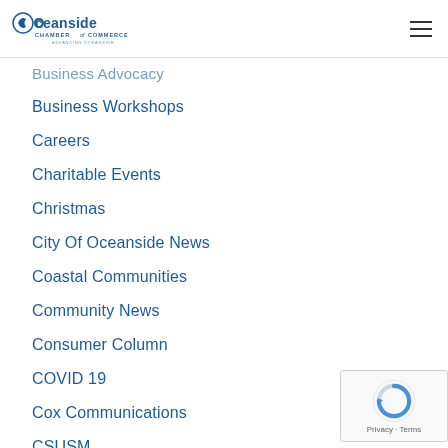Oceanside Chamber of Commerce - Advancing Oceanside
Business Advocacy
Business Workshops
Careers
Charitable Events
Christmas
City Of Oceanside News
Coastal Communities
Community News
Consumer Column
COVID 19
Cox Communications
CSUSM
Education
Events